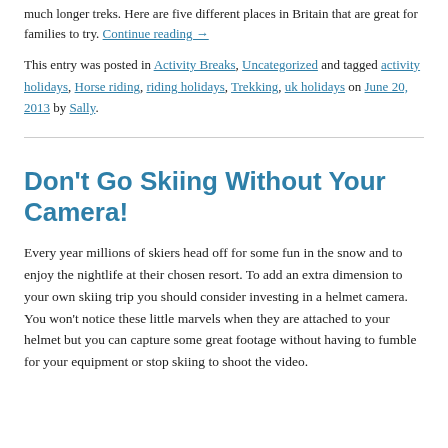much longer treks. Here are five different places in Britain that are great for families to try. Continue reading →
This entry was posted in Activity Breaks, Uncategorized and tagged activity holidays, Horse riding, riding holidays, Trekking, uk holidays on June 20, 2013 by Sally.
Don't Go Skiing Without Your Camera!
Every year millions of skiers head off for some fun in the snow and to enjoy the nightlife at their chosen resort. To add an extra dimension to your own skiing trip you should consider investing in a helmet camera. You won't notice these little marvels when they are attached to your helmet but you can capture some great footage without having to fumble for your equipment or stop skiing to shoot the video.